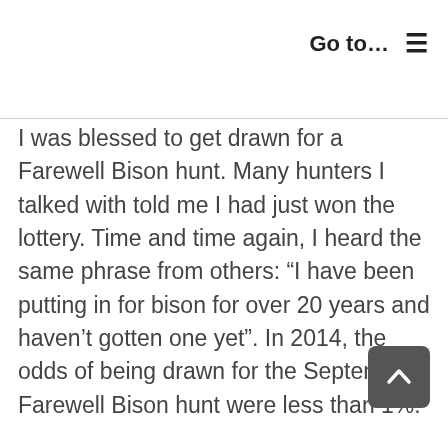Go to…  ☰
I was blessed to get drawn for a Farewell Bison hunt. Many hunters I talked with told me I had just won the lottery. Time and time again, I heard the same phrase from others: “I have been putting in for bison for over 20 years and haven’t gotten one yet”. In 2014, the odds of being drawn for the September Farewell Bison hunt were less than 1%.
The logistics led down many winding roads. I worked for months, following leads and referrals from people I knew and trusted. I discussed many